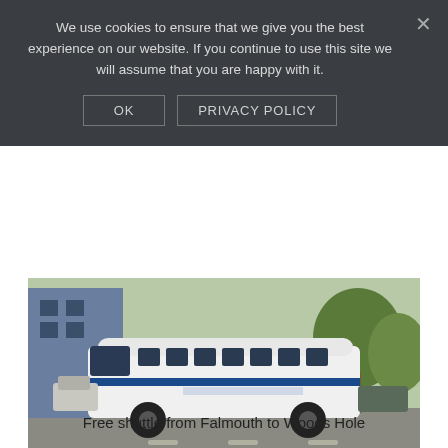We use cookies to ensure that we give you the best experience on our website. If you continue to use this site we will assume that you are happy with it.
OK   PRIVACY POLICY
[Figure (photo): A white Island Ferry Shuttle bus parked on a road, with a blue building and trees in the background.]
Free shuttle from Falmouth to Woods Hole